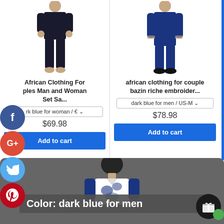[Figure (photo): Two product columns showing African clothing items. Left: dark navy/black outfit for man and woman. Right: dark blue bazin riche embroidered couples outfit for men.]
African Clothing For ples Man and Woman Set Sa...
african clothing for couple bazin riche embroider...
rk blue for woman / € ▾
dark blue for men / US-M ▾
$69.98
$78.98
Add to cart
Add to cart
[Figure (photo): Popup image showing man wearing dark blue African patterned clothing with Color label overlay reading: Color: dark blue for men]
Color: dark blue for men